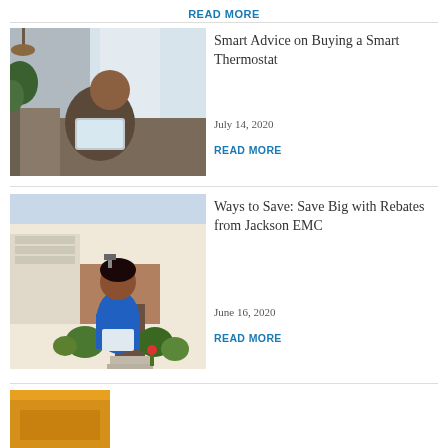READ MORE
[Figure (photo): Man sitting on a couch using a tablet/laptop, indoor setting with plants and curtains in background]
Smart Advice on Buying a Smart Thermostat
July 14, 2020
READ MORE
[Figure (photo): Woman in blue polo shirt holding a tablet, standing outside in front of a house with brick and greenery]
Ways to Save: Save Big with Rebates from Jackson EMC
June 16, 2020
READ MORE
[Figure (photo): Partial orange/warm-toned image at bottom of page, cropped]